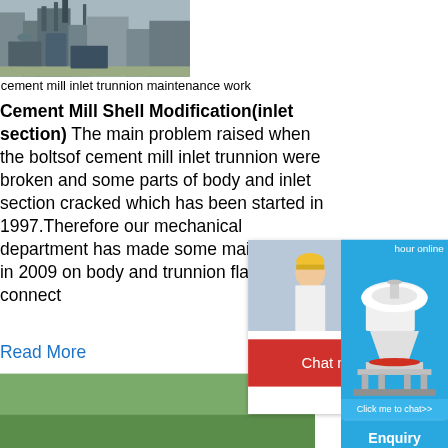[Figure (photo): Industrial cement mill facility with machinery and structures]
cement mill inlet trunnion maintenance work
Cement Mill Shell Modification(inlet section) The main problem raised when the boltsof cement mill inlet trunnion were broken and some parts of body and inlet section cracked which has been started in 1997.Therefore our mechanical department has made some maintenance in 2009 on body and trunnion flange connect…
Read More
[Figure (photo): Outdoor quarry or mining site with gravel pile and yellow construction machinery]
What Is A Ball Mill Trunnion - dahmen-training.de
Ball Mill Trunnion. Ball mill trunnion ball mill trunnion is an important part to load the mill rotary body th… connected to bearing liner and the circular …
[Figure (infographic): Live chat popup overlay with workers in hard hats, LIVE CHAT heading, Click for a Free Consultation text, Chat now and Chat later buttons]
[Figure (photo): Right sidebar showing cone crusher machine with blue background, hour online text, Click me to chat button, Enquiry section, limingjlmofen username]